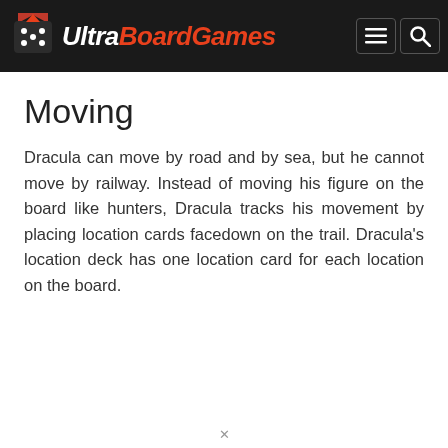UltraBoardGames
Moving
Dracula can move by road and by sea, but he cannot move by railway. Instead of moving his figure on the board like hunters, Dracula tracks his movement by placing location cards facedown on the trail. Dracula's location deck has one location card for each location on the board.